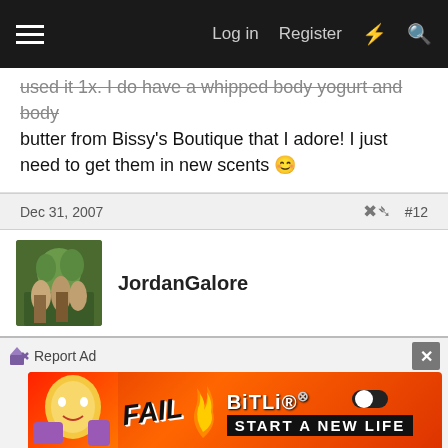Log in | Register
used it 1x. I do have a whipped body yogurt and body butter from Bissy's Boutique that I adore! I just need to get them in new scents 🙂
Dec 31, 2007  #12
JordanGalore
I dont use anything too expensive, but I do love Jergens Shea Butter Cream Body Lotion. It keeps my skin really soft and I'm not ashy by mid morning, lol! I also like the one by Gold Bond, I love Nivea, Eucerin and Lubriderm.
[Figure (screenshot): BitLife advertisement banner with FAIL text and 'START A NEW LIFE' tagline]